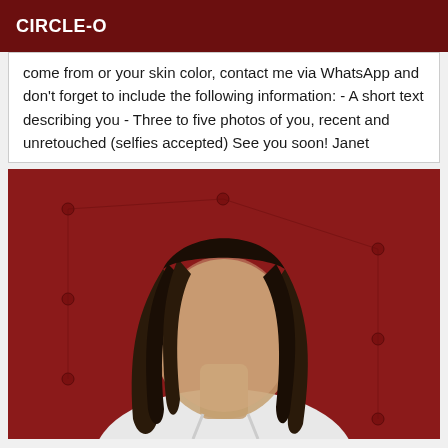CIRCLE-O
come from or your skin color, contact me via WhatsApp and don't forget to include the following information: - A short text describing you - Three to five photos of you, recent and unretouched (selfies accepted) See you soon! Janet
[Figure (photo): Person with braided hair against a red tufted background, face blurred, wearing a white top]